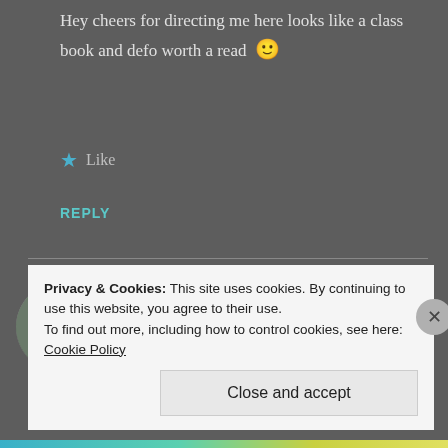Hey cheers for directing me here looks like a class book and defo worth a read 🙂
★ Like
REPLY
Mark (@oakhillwanderer)
JULY 2, 2013 AT 5:01 PM
Privacy & Cookies: This site uses cookies. By continuing to use this website, you agree to their use.
To find out more, including how to control cookies, see here: Cookie Policy
Close and accept